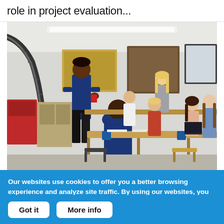role in project evaluation...
[Figure (photo): Photograph of a classroom/workshop setting with a teacher standing near students seated at wooden workbenches. Students are working on projects; blue vises visible on benches. Industrial equipment and cabinets in background. Bright, modern workshop classroom.]
Our websites use cookies to offer you a better browsing experience and analyze site traffic. By using our websites, you consent to our use of cookies.
Got it   More info